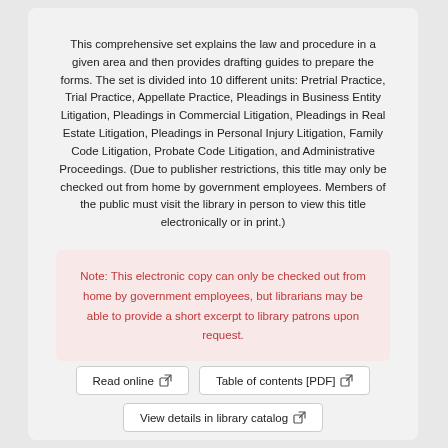This comprehensive set explains the law and procedure in a given area and then provides drafting guides to prepare the forms. The set is divided into 10 different units: Pretrial Practice, Trial Practice, Appellate Practice, Pleadings in Business Entity Litigation, Pleadings in Commercial Litigation, Pleadings in Real Estate Litigation, Pleadings in Personal Injury Litigation, Family Code Litigation, Probate Code Litigation, and Administrative Proceedings. (Due to publisher restrictions, this title may only be checked out from home by government employees. Members of the public must visit the library in person to view this title electronically or in print.)
Note: This electronic copy can only be checked out from home by government employees, but librarians may be able to provide a short excerpt to library patrons upon request.